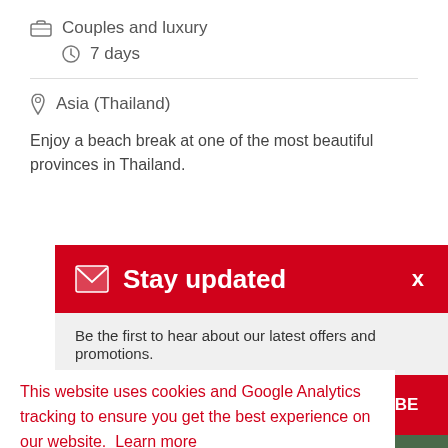Couples and luxury
7 days
Asia (Thailand)
Enjoy a beach break at one of the most beautiful provinces in Thailand.
Stay updated
Be the first to hear about our latest offers and promotions.
RIBE
This website uses cookies and Google Analytics tracking to ensure you get the best experience on our website.  Learn more
Got it!